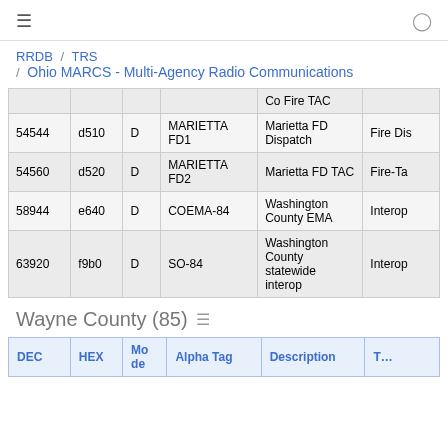≡  (user icon)
RRDB / TRS / Ohio MARCS - Multi-Agency Radio Communications
| DEC | HEX | Mode | Alpha Tag | Description | Tag |
| --- | --- | --- | --- | --- | --- |
|  |  |  |  | Co Fire TAC |  |
| 54544 | d510 | D | MARIETTA FD1 | Marietta FD Dispatch | Fire Dis… |
| 54560 | d520 | D | MARIETTA FD2 | Marietta FD TAC | Fire-Ta… |
| 58944 | e640 | D | COEMA-84 | Washington County EMA | Interop |
| 63920 | f9b0 | D | SO-84 | Washington County statewide interop | Interop |
Wayne County (85)
| DEC | HEX | Mode | Alpha Tag | Description | T… |
| --- | --- | --- | --- | --- | --- |